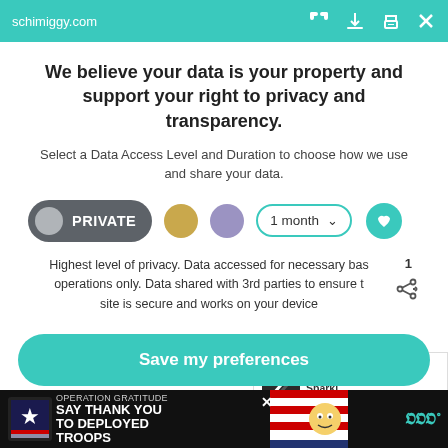schimiggy.com
We believe your data is your property and support your right to privacy and transparency.
Select a Data Access Level and Duration to choose how we use and share your data.
[Figure (screenshot): Privacy consent controls row: PRIVATE toggle button (dark grey), gold circle, purple circle, 1 month dropdown, heart icon button]
Highest level of privacy. Data accessed for necessary bas operations only. Data shared with 3rd parties to ensure the site is secure and works on your device
Save my preferences
[Figure (screenshot): Advertisement bar: Operation Gratitude ad - SAY THANK YOU TO DEPLOYED TROOPS with US flag imagery and cartoon character]